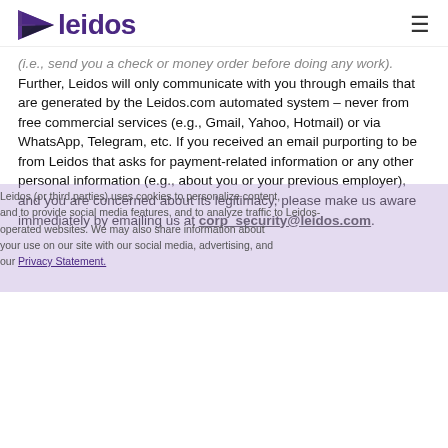leidos
(i.e., send you a check or money order before doing any work). Further, Leidos will only communicate with you through emails that are generated by the Leidos.com automated system – never from free commercial services (e.g., Gmail, Yahoo, Hotmail) or via WhatsApp, Telegram, etc. If you received an email purporting to be from Leidos that asks for payment-related information or any other personal information (e.g., about you or your previous employer), and you are concerned about its legitimacy, please make us aware immediately by emailing us at corp_security@leidos.com.
If you believe you are the victim of a scam, contact your local law enforcement and report the incident to the U.S. Federal Trade Commission.